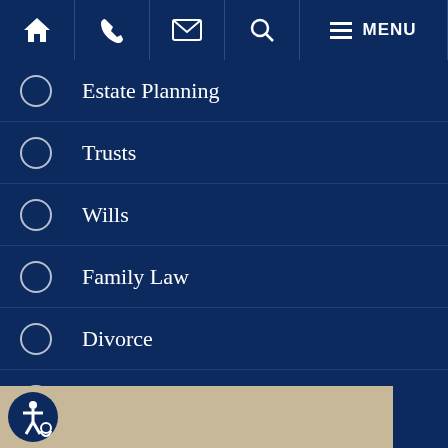Navigation bar with home, phone, email, search, and menu icons
Estate Planning
Trusts
Wills
Family Law
Divorce
Personal Injury
Real Estate
Civil Litigation
[Figure (logo): Accessibility wheelchair icon button in blue circle at bottom left]